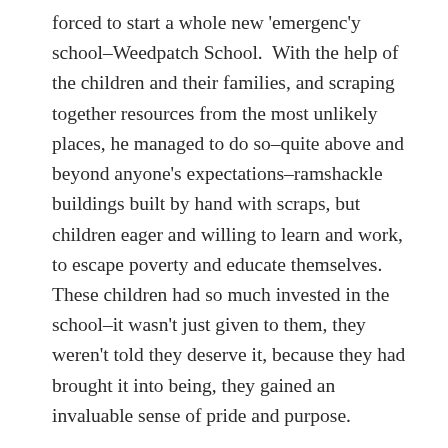forced to start a whole new 'emergency school–Weedpatch School. With the help of the children and their families, and scraping together resources from the most unlikely places, he managed to do so–quite above and beyond anyone's expectations–ramshackle buildings built by hand with scraps, but children eager and willing to learn and work, to escape poverty and educate themselves. These children had so much invested in the school–it wasn't just given to them, they weren't told they deserve it, because they had brought it into being, they gained an invaluable sense of pride and purpose.

The book tells in the end, of what became of this